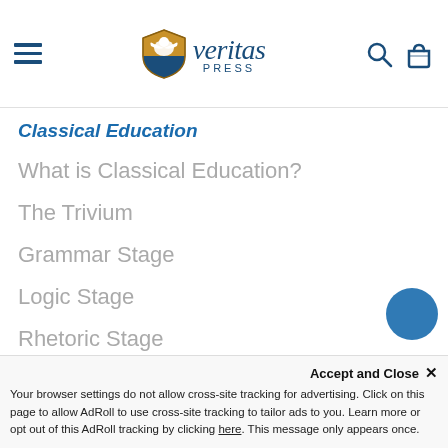veritas PRESS
Classical Education
What is Classical Education?
The Trivium
Grammar Stage
Logic Stage
Rhetoric Stage
Resources
Free Helps
Request Catalog
Online Catalog
Accept and Close ✕
Your browser settings do not allow cross-site tracking for advertising. Click on this page to allow AdRoll to use cross-site tracking to tailor ads to you. Learn more or opt out of this AdRoll tracking by clicking here. This message only appears once.